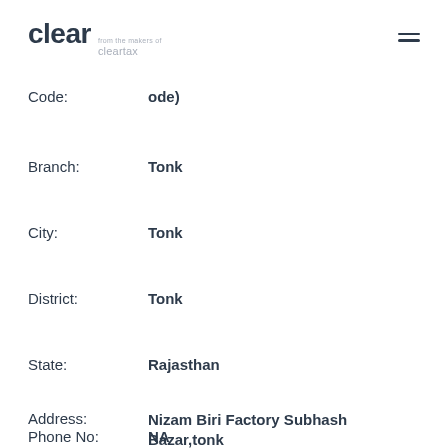[Figure (logo): Clear logo with 'from the makers of cleartax' subtitle]
Code:   ode)
Branch:   Tonk
City:   Tonk
District:   Tonk
State:   Rajasthan
Address:   Nizam Biri Factory Subhash Bazar,tonk -304001
Phone No:   NA